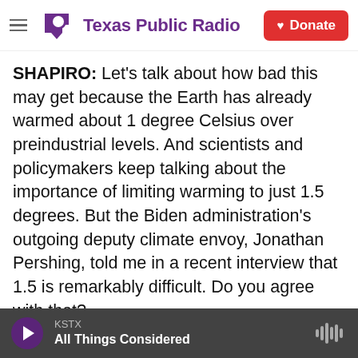Texas Public Radio | Donate
SHAPIRO: Let's talk about how bad this may get because the Earth has already warmed about 1 degree Celsius over preindustrial levels. And scientists and policymakers keep talking about the importance of limiting warming to just 1.5 degrees. But the Biden administration's outgoing deputy climate envoy, Jonathan Pershing, told me in a recent interview that 1.5 is remarkably difficult. Do you agree with that?
O'NEILL: I do. I think that's a conclusion - basically kind of the conventional wisdom from the literature. That effort to understand what it would
KSTX | All Things Considered